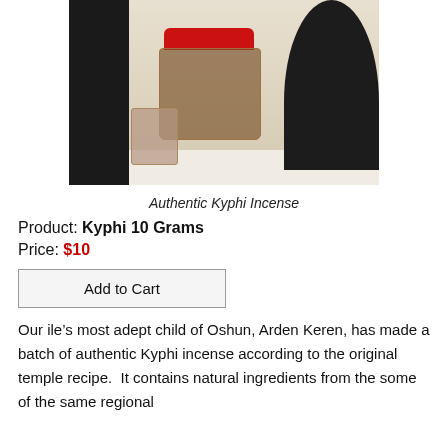[Figure (photo): Photo of Authentic Kyphi Incense: a jar with a red lid containing brown herbal mixture, a small bag of herbs, and a black African bust sculpture, on a white surface with black fabric background.]
Authentic Kyphi Incense
Product: Kyphi 10 Grams
Price: $10
Add to Cart
Our ile’s most adept child of Oshun, Arden Keren, has made a batch of authentic Kyphi incense according to the original temple recipe.  It contains natural ingredients from the some of the same regional